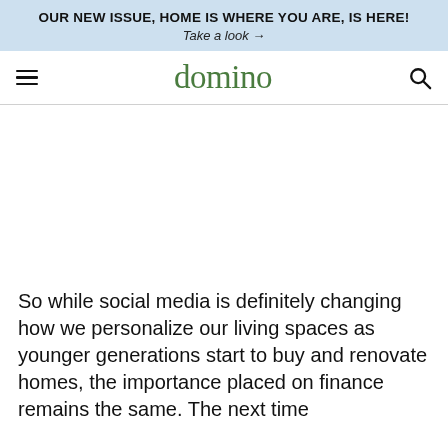OUR NEW ISSUE, HOME IS WHERE YOU ARE, IS HERE! Take a look →
domino
So while social media is definitely changing how we personalize our living spaces as younger generations start to buy and renovate homes, the importance placed on finance remains the same. The next time